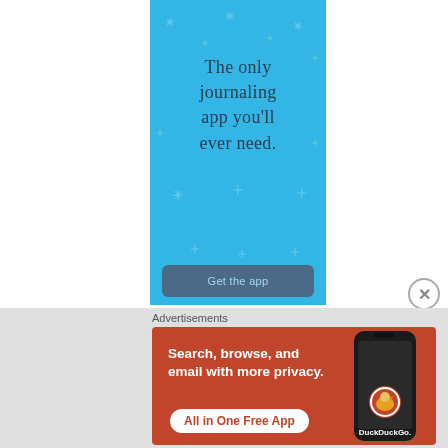[Figure (illustration): Blue journaling app advertisement with stars/sparkles decoration, text 'The only journaling app you'll ever need.' and a 'Get the app' button at the bottom]
Advertisements
[Figure (illustration): DuckDuckGo advertisement on orange/red background with phone mockup showing DuckDuckGo logo. Text: 'Search, browse, and email with more privacy.' with 'All in One Free App' button and DuckDuckGo branding]